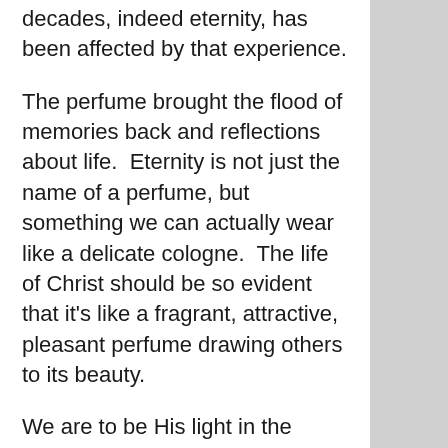decades, indeed eternity, has been affected by that experience.
The perfume brought the flood of memories back and reflections about life.  Eternity is not just the name of a perfume, but something we can actually wear like a delicate cologne.  The life of Christ should be so evident that it's like a fragrant, attractive, pleasant perfume drawing others to its beauty.
We are to be His light in the darkness, examples of His kingdom and like a sweet aroma before all. Not all people though will care for the life-giving fragrance. Some will